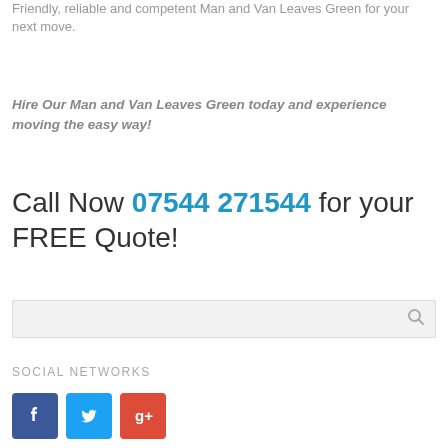Friendly, reliable and competent Man and Van Leaves Green for your next move.
Hire Our Man and Van Leaves Green today and experience moving the easy way!
Call Now 07544 271544 for your FREE Quote!
[Figure (other): Search input box with magnifying glass icon]
SOCIAL NETWORKS
[Figure (other): Social media icons: Facebook (blue), Twitter (light blue), Google+ (red)]